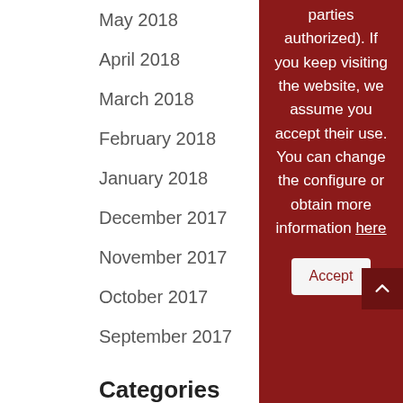May 2018
April 2018
March 2018
February 2018
January 2018
December 2017
November 2017
October 2017
September 2017
Categories
Ajedrez
Art
Articles English
Articles Spanish
parties authorized). If you keep visiting the website, we assume you accept their use. You can change the configure or obtain more information here
Accept